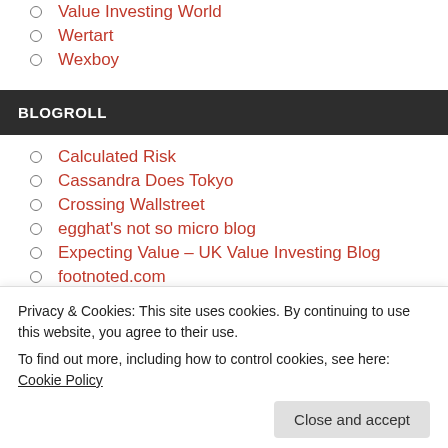Value Investing World
Wertart
Wexboy
BLOGROLL
Calculated Risk
Cassandra Does Tokyo
Crossing Wallstreet
egghat's not so micro blog
Expecting Value – UK Value Investing Blog
footnoted.com
Privacy & Cookies: This site uses cookies. By continuing to use this website, you agree to their use.
To find out more, including how to control cookies, see here: Cookie Policy
Close and accept
Long Term Value Blog